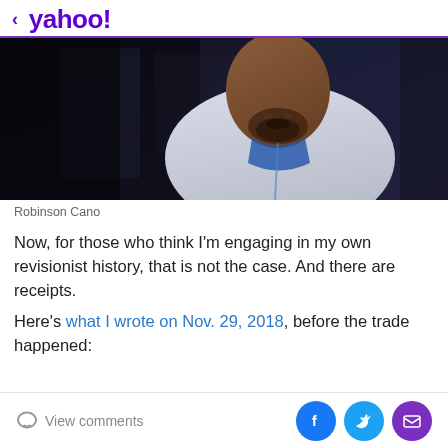< yahoo!
[Figure (photo): Photo of Robinson Cano, a baseball player wearing a light gray uniform with a blue accent, partially visible from chest up, with dark background]
Robinson Cano
Now, for those who think I'm engaging in my own revisionist history, that is not the case. And there are receipts.
Here's what I wrote on Nov. 29, 2018, before the trade happened:
View comments